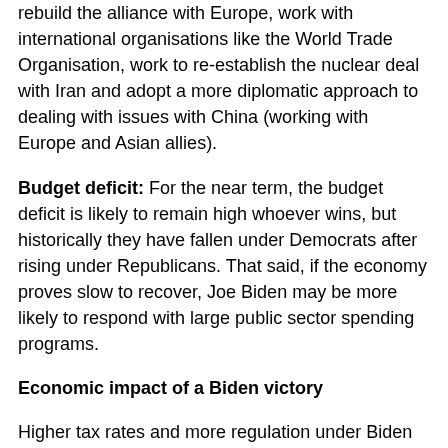rebuild the alliance with Europe, work with international organisations like the World Trade Organisation, work to re-establish the nuclear deal with Iran and adopt a more diplomatic approach to dealing with issues with China (working with Europe and Asian allies).
Budget deficit: For the near term, the budget deficit is likely to remain high whoever wins, but historically they have fallen under Democrats after rising under Republicans. That said, if the economy proves slow to recover, Joe Biden may be more likely to respond with large public sector spending programs.
Economic impact of a Biden victory
Higher tax rates and more regulation under Biden would be negative for the growth outlook on their own. However, as with all things economic, it's never as simple as that.